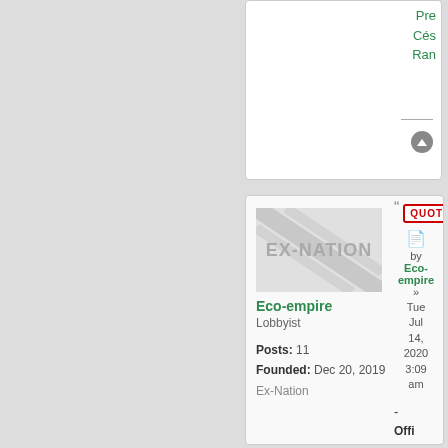Pre
Cés
Ran
[Figure (illustration): Navigation arrow icon button (dark circle with upward arrow)]
[Figure (photo): EX-NATION avatar placeholder image with diagonal stripes]
Eco-empire
Lobbyist
Posts: 11
Founded: Dec 20, 2019
Ex-Nation
QUOTE
by Eco-empire » Tue Jul 14, 2020 3:09 am
- Official name of the nation: The Rainbow Democracy of